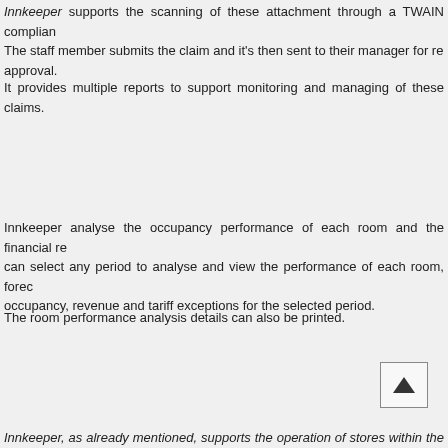Innkeeper supports the scanning of these attachment through a TWAIN compliant scanner. The staff member submits the claim and it's then sent to their manager for review and approval.
It provides multiple reports to support monitoring and managing of these claims.
Innkeeper analyse the occupancy performance of each room and the financial results. Users can select any period to analyse and view the performance of each room, forecasts of occupancy, revenue and tariff exceptions for the selected period.
The room performance analysis details can also be printed.
[Figure (other): Navigation button with upward triangle/arrow icon]
Innkeeper, as already mentioned, supports the operation of stores within the orga...